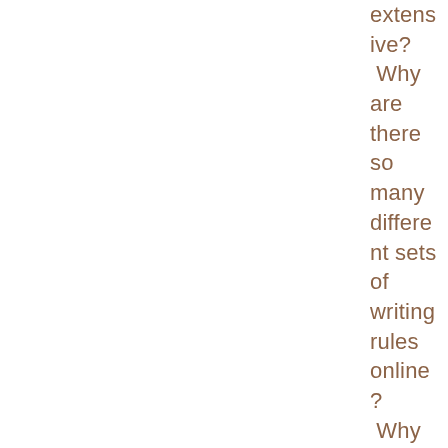extensive? Why are there so many different sets of writing rules online? Why is there so much conflicting